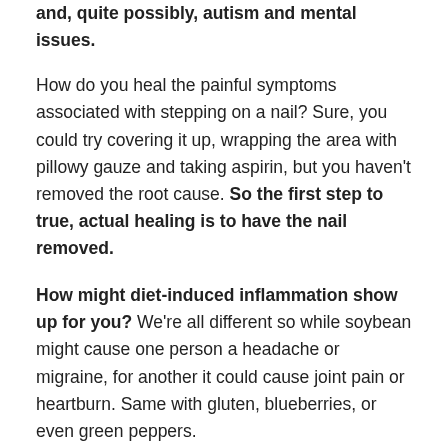and, quite possibly, autism and mental issues.
How do you heal the painful symptoms associated with stepping on a nail? Sure, you could try covering it up, wrapping the area with pillowy gauze and taking aspirin, but you haven't removed the root cause. So the first step to true, actual healing is to have the nail removed.
How might diet-induced inflammation show up for you? We're all different so while soybean might cause one person a headache or migraine, for another it could cause joint pain or heartburn. Same with gluten, blueberries, or even green peppers.
Just because a food or diet is labeled as anti-inflammatory doesn't mean it's acting that way for you. In fact, surprisingly enough, we've had two clients in